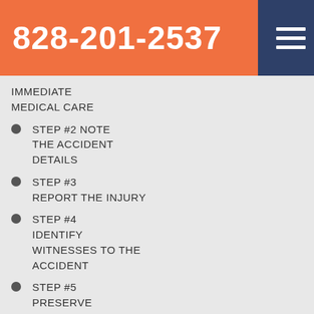828-201-2537
IMMEDIATE MEDICAL CARE
STEP #2 NOTE THE ACCIDENT DETAILS
STEP #3 REPORT THE INJURY
STEP #4 IDENTIFY WITNESSES TO THE ACCIDENT
STEP #5 PRESERVE ACCIDENT EVIDENCE
STEP #6 SECURE